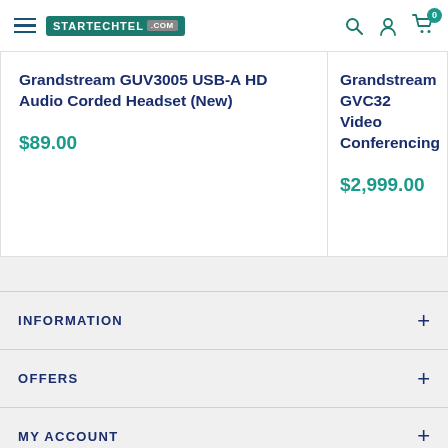STARTECHTEL.COM — navigation header with hamburger menu, logo, search, account, cart (0)
Grandstream GUV3005 USB-A HD Audio Corded Headset (New)
$89.00
Grandstream GVC32... Video Conferencing...
$2,999.00
INFORMATION
OFFERS
MY ACCOUNT